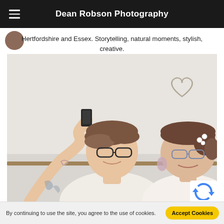Dean Robson Photography
Hertfordshire and Essex. Storytelling, natural moments, stylish, creative.
[Figure (photo): Two women taking a selfie with a smartphone; both are smiling and wearing glasses. One has tattoos on her arm and flowers in her hair. Light background with decorative items on the wall.]
By continuing to use the site, you agree to the use of cookies.